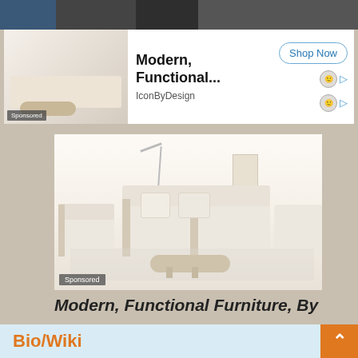[Figure (photo): Partial top photo showing person in dark clothing, cropped at top]
[Figure (screenshot): Sponsored ad banner: furniture image thumbnail on left, 'Modern, Functional...' text in center, 'Shop Now' button and icons on right. Source: IconByDesign]
[Figure (photo): Large sponsored ad photo showing Scandinavian-style living room with cream/beige sofas, wooden coffee table, floor lamp, on white background. 'Sponsored' badge in lower left.]
Modern, Functional Furniture, By
Bio/Wiki
[Figure (screenshot): Second sponsored ad banner at bottom: furniture thumbnail, 'Modern, Functional...' text, 'Shop Now' button. Source: IconByDesign. Partially visible rows with 'Real' and 'Nic' text.]